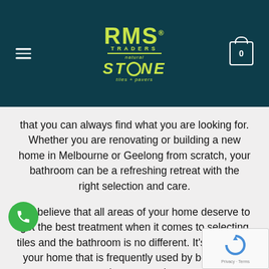[Figure (logo): RMS Traders Natural Stone tiles + pavers logo on dark teal header with hamburger menu and cart icon]
that you can always find what you are looking for. Whether you are renovating or building a new home in Melbourne or Geelong from scratch, your bathroom can be a refreshing retreat with the right selection and care.
We believe that all areas of your home deserve to get the best treatment when it comes to selecting tiles and the bathroom is no different. It's a room in your home that is frequently used by both family and guests and...